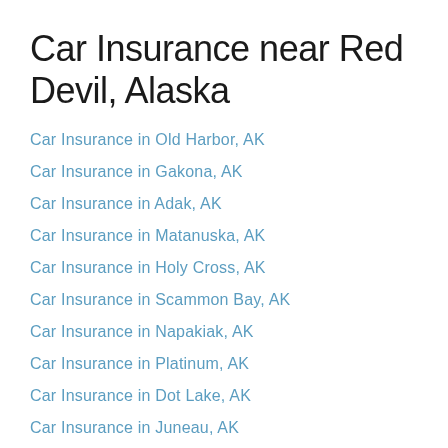Car Insurance near Red Devil, Alaska
Car Insurance in Old Harbor, AK
Car Insurance in Gakona, AK
Car Insurance in Adak, AK
Car Insurance in Matanuska, AK
Car Insurance in Holy Cross, AK
Car Insurance in Scammon Bay, AK
Car Insurance in Napakiak, AK
Car Insurance in Platinum, AK
Car Insurance in Dot Lake, AK
Car Insurance in Juneau, AK
Car Insurance in Yakutat, AK